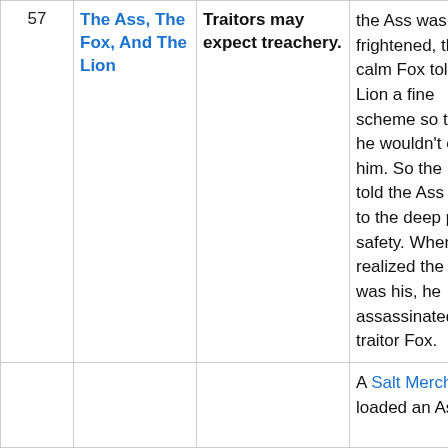| # | Title | Moral | Summary |
| --- | --- | --- | --- |
| 57 | The Ass, The Fox, And The Lion | Traitors may expect treachery. | the Ass was frightened, the calm Fox told the Lion a fine scheme so that he wouldn't eat him. So the Fox told the Ass to go to the deep pit for safety. When he realized the Ass was his, he assassinated the traitor Fox. |
|  |  |  | A Salt Merchant loaded an Ass |